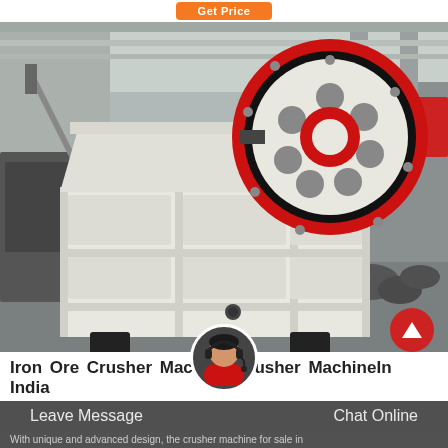Get Price
[Figure (photo): Industrial jaw crusher machine with large red and black flywheel, white body, displayed in a factory/warehouse setting. Background shows Chinese text on a red banner and other industrial equipment.]
Iron Ore Crusher Machine Crusher MachineIn India
Leave Message   Chat Online
With unique and advanced design, the crusher machine for sale in